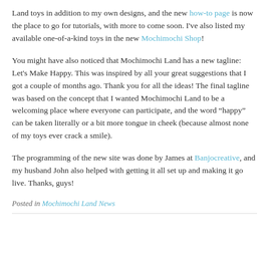Land toys in addition to my own designs, and the new how-to page is now the place to go for tutorials, with more to come soon. I've also listed my available one-of-a-kind toys in the new Mochimochi Shop!
You might have also noticed that Mochimochi Land has a new tagline: Let's Make Happy. This was inspired by all your great suggestions that I got a couple of months ago. Thank you for all the ideas! The final tagline was based on the concept that I wanted Mochimochi Land to be a welcoming place where everyone can participate, and the word “happy” can be taken literally or a bit more tongue in cheek (because almost none of my toys ever crack a smile).
The programming of the new site was done by James at Banjocreative, and my husband John also helped with getting it all set up and making it go live. Thanks, guys!
Posted in Mochimochi Land News